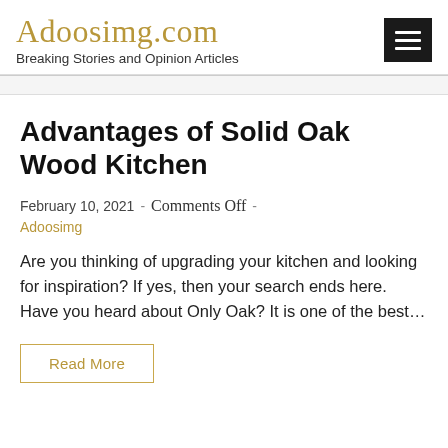Adoosimg.com
Breaking Stories and Opinion Articles
Advantages of Solid Oak Wood Kitchen
February 10, 2021 - Comments Off - Adoosimg
Are you thinking of upgrading your kitchen and looking for inspiration? If yes, then your search ends here. Have you heard about Only Oak? It is one of the best…
Read More